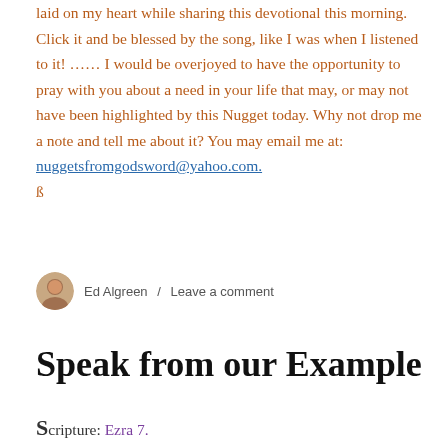laid on my heart while sharing this devotional this morning. Click it and be blessed by the song, like I was when I listened to it! …… I would be overjoyed to have the opportunity to pray with you about a need in your life that may, or may not have been highlighted by this Nugget today. Why not drop me a note and tell me about it? You may email me at: nuggetsfromgodsword@yahoo.com. ß
Ed Algreen / Leave a comment
Speak from our Example
Scripture: Ezra 7.